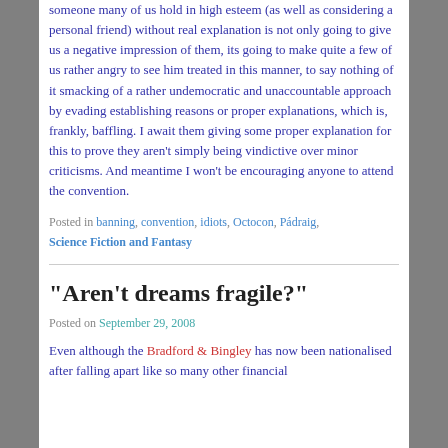someone many of us hold in high esteem (as well as considering a personal friend) without real explanation is not only going to give us a negative impression of them, its going to make quite a few of us rather angry to see him treated in this manner, to say nothing of it smacking of a rather undemocratic and unaccountable approach by evading establishing reasons or proper explanations, which is, frankly, baffling. I await them giving some proper explanation for this to prove they aren't simply being vindictive over minor criticisms. And meantime I won't be encouraging anyone to attend the convention.
Posted in banning, convention, idiots, Octocon, Pádraig, Science Fiction and Fantasy
"Aren't dreams fragile?"
Posted on September 29, 2008
Even although the Bradford & Bingley has now been nationalised after falling apart like so many other financial